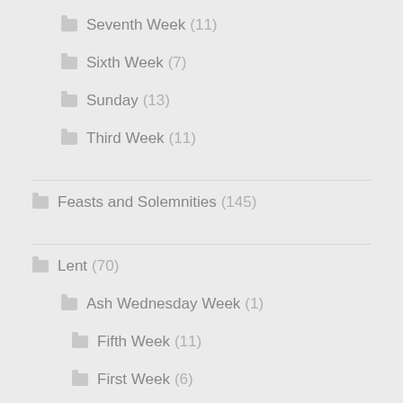Seventh Week (11)
Sixth Week (7)
Sunday (13)
Third Week (11)
Feasts and Solemnities (145)
Lent (70)
Ash Wednesday Week (1)
Fifth Week (11)
First Week (6)
Fourth Week (6)